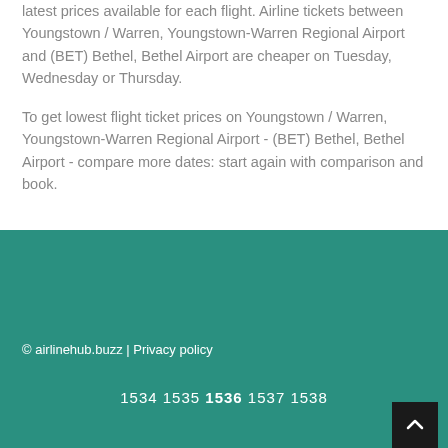latest prices available for each flight. Airline tickets between Youngstown / Warren, Youngstown-Warren Regional Airport and (BET) Bethel, Bethel Airport are cheaper on Tuesday, Wednesday or Thursday.
To get lowest flight ticket prices on Youngstown / Warren, Youngstown-Warren Regional Airport - (BET) Bethel, Bethel Airport - compare more dates: start again with comparison and book.
© airlinehub.buzz | Privacy policy
1534 1535 1536 1537 1538